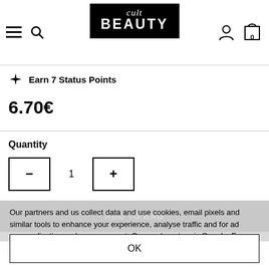Cult Beauty — navigation header with hamburger menu, search, logo, user icon, and bag (0)
Earn 7 Status Points
6.70€
Quantity
1
Our partners and us collect data and use cookies, email pixels and similar tools to enhance your experience, analyse traffic and for ad personalisation and measurement. One such partner is Google. For more information see our cookie policy
OK